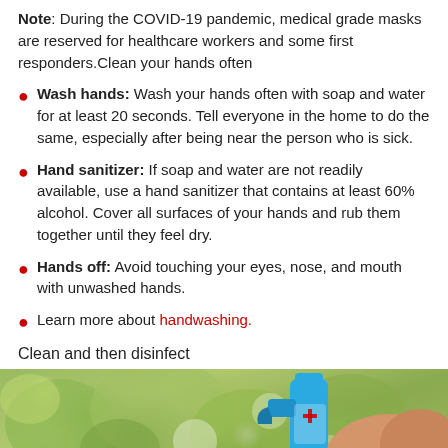Note: During the COVID-19 pandemic, medical grade masks are reserved for healthcare workers and some first responders.Clean your hands often
Wash hands: Wash your hands often with soap and water for at least 20 seconds. Tell everyone in the home to do the same, especially after being near the person who is sick.
Hand sanitizer: If soap and water are not readily available, use a hand sanitizer that contains at least 60% alcohol. Cover all surfaces of your hands and rub them together until they feel dry.
Hands off: Avoid touching your eyes, nose, and mouth with unwashed hands.
Learn more about handwashing.
Clean and then disinfect
[Figure (photo): Photo of a blue spray bottle being held by a hand, with green blurred background]